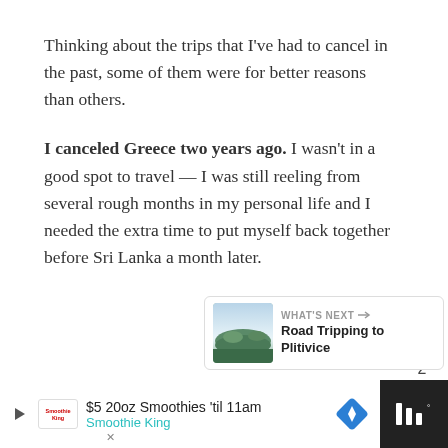Thinking about the trips that I've had to cancel in the past, some of them were for better reasons than others.
I canceled Greece two years ago. I wasn't in a good spot to travel — I was still reeling from several rough months in my personal life and I needed the extra time to put myself back together before Sri Lanka a month later.
[Figure (infographic): Heart (like) button in teal circle, count of 2, and share button below on right side]
[Figure (infographic): What's Next card with landscape thumbnail photo and text 'Road Tripping to Plitivice']
[Figure (infographic): Advertisement bar at bottom: $5 20oz Smoothies 'til 11am - Smoothie King]